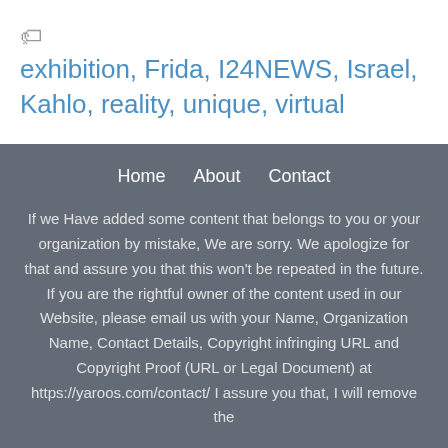🏷 exhibition, Frida, I24NEWS, Israel, Kahlo, reality, unique, virtual
< Watch Series 7: Apple's premium watch is discounted on Amazon
Home   About   Contact
If we Have added some content that belongs to you or your organization by mistake, We are sorry. We apologize for that and assure you that this won't be repeated in the future. If you are the rightful owner of the content used in our Website, please email us with your Name, Organization Name, Contact Details, Copyright infringing URL and Copyright Proof (URL or Legal Document) at https://yaroos.com/contact/ I assure you that, I will remove the